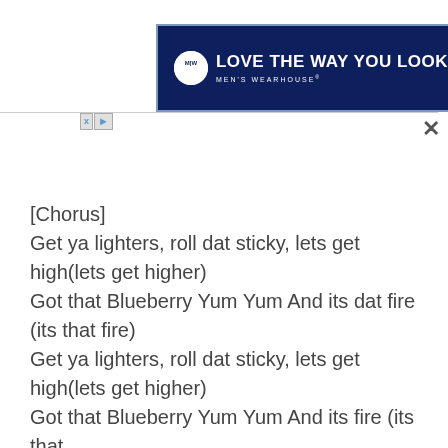[Figure (illustration): Men's Wearhouse advertisement banner with dark navy blue background, circular MW logo, and bold white text reading LOVE THE WAY YOU LOOK with MEN'S WEARHOUSE subtitle. Contains small X and play button controls at bottom left.]
[Chorus]
Get ya lighters, roll dat sticky, lets get high(lets get higher)
Got that Blueberry Yum Yum And its dat fire (its that fire)
Get ya lighters, roll dat sticky, lets get high(lets get higher)
Got that Blueberry Yum Yum And its fire (its that